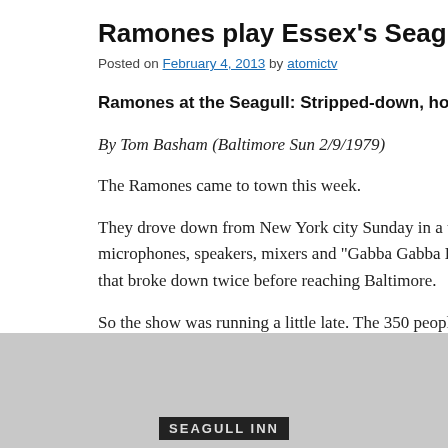Ramones play Essex’s Seagull Inn (2/4/19…
Posted on February 4, 2013 by atomictv
Ramones at the Seagull: Stripped-down, honest rock is their…
By Tom Basham (Baltimore Sun 2/9/1979)
The Ramones came to town this week.
They drove down from New York city Sunday in a window van… microphones, speakers, mixers and “Gabba Gabba Hey” sign tr… that broke down twice before reaching Baltimore.
So the show was running a little late. The 350 people in attenda… the comfy ambiance of the Seagull Inn.
[Figure (photo): Black and white photograph showing the Seagull Inn sign at the bottom of the image, on a grey background.]